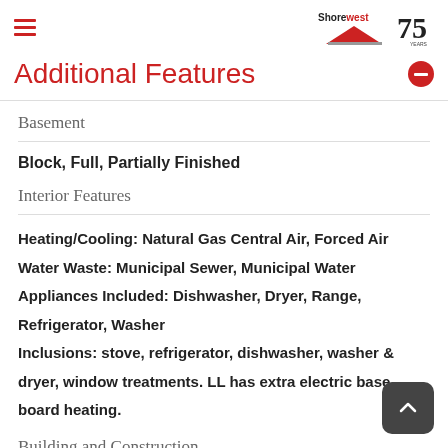ShoreWest 75 Years
Additional Features
Basement
Block, Full, Partially Finished
Interior Features
Heating/Cooling: Natural Gas Central Air, Forced Air
Water Waste: Municipal Sewer, Municipal Water
Appliances Included: Dishwasher, Dryer, Range, Refrigerator, Washer
Inclusions: stove, refrigerator, dishwasher, washer & dryer, window treatments. LL has extra electric base board heating.
Building and Construction